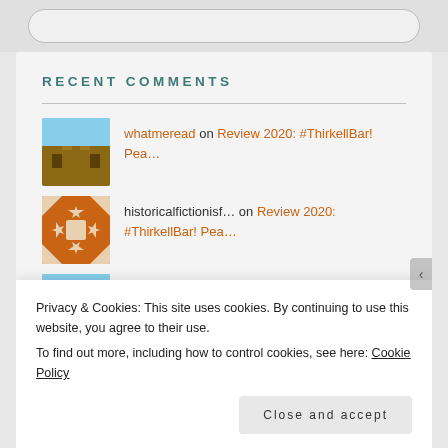RECENT COMMENTS
whatmeread on Review 2020: #ThirkellBar! Pea…
historicalfictionisf… on Review 2020: #ThirkellBar! Pea…
whatmeread on Review 2021: A House in the Co…
whatmeread on Review 2021: A House in the Co…
Privacy & Cookies: This site uses cookies. By continuing to use this website, you agree to their use.
To find out more, including how to control cookies, see here: Cookie Policy
Close and accept